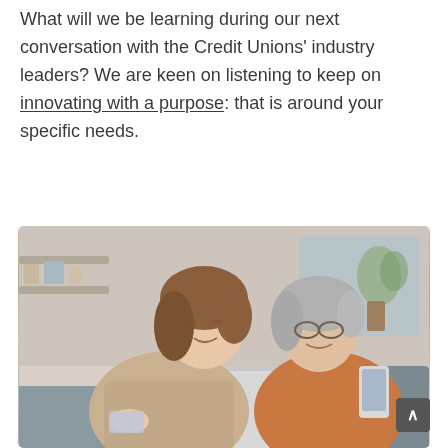What will we be learning during our next conversation with the Credit Unions' industry leaders? We are keen on listening to keep on innovating with a purpose: that is around your specific needs.
[Figure (photo): Two women sitting together on a couch, one younger with brown hair holding a credit card and looking at a laptop, one older with grey hair and glasses holding a smartphone, both smiling, indoor setting with plants in background]